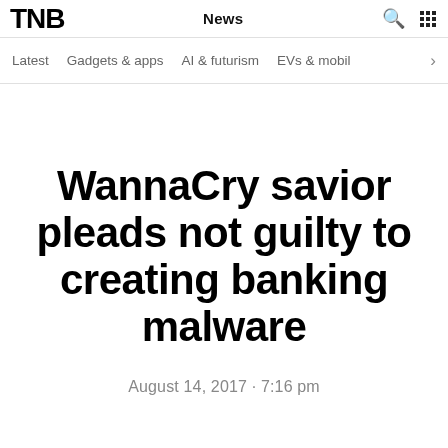TNB News
Latest  Gadgets & apps  AI & futurism  EVs & mobil  >
WannaCry savior pleads not guilty to creating banking malware
August 14, 2017 · 7:16 pm